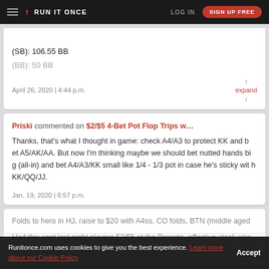RUN IT ONCE | LOG IN | SIGN UP FREE
(SB): 106.55 BB
(BB): 50 BB
April 26, 2020 | 4:44 p.m.
expand
Priski commented on $2/$5 4-Bet Pot Flop Trips w...
Thanks, that's what I thought in game: check A4/A3 to protect KK and bet A5/AK/AA. But now I'm thinking maybe we should bet nutted hands big (all-in) and bet A4/A3/KK small like 1/4 - 1/3 pot in case he's sticky with KK/QQ/JJ.
Jan. 19, 2020 | 6:57 p.m.
Priski posted in NLHE: $2/$5 4-Bet Pot Flop Trips...
Had this spot last night playing $2/$5 at the Brogata, effective stack size
Folds to hero in HJ, raise to $20 with A4ss, CO folds, BTN (middle aged
Runitonce.com uses cookies to give you the best experience. Learn more about our Cookie Policy
Accept